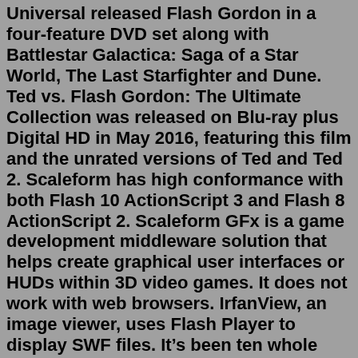Universal released Flash Gordon in a four-feature DVD set along with Battlestar Galactica: Saga of a Star World, The Last Starfighter and Dune. Ted vs. Flash Gordon: The Ultimate Collection was released on Blu-ray plus Digital HD in May 2016, featuring this film and the unrated versions of Ted and Ted 2. Scaleform has high conformance with both Flash 10 ActionScript 3 and Flash 8 ActionScript 2. Scaleform GFx is a game development middleware solution that helps create graphical user interfaces or HUDs within 3D video games. It does not work with web browsers. IrfanView, an image viewer, uses Flash Player to display SWF files. It’s been ten whole years since Yeah Jam Fury first released on Newgrounds! To celebrate we’re bringing the game to Steam for free on July 6th! Take up the reins once more fabricating, navigating, and eradicating your way to that precious mango with the lovable puzzle-platforming trio. Be sure to wishlist the game to be notified of the launch! Trials 2. Right Click the Game and Choose "Full Screen" to play in full-screen mode. This tool is a